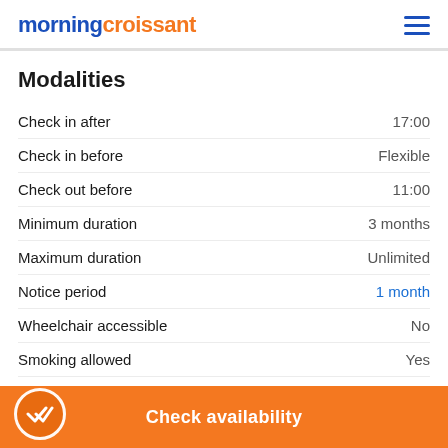morningcroissant
Modalities
|  |  |
| --- | --- |
| Check in after | 17:00 |
| Check in before | Flexible |
| Check out before | 11:00 |
| Minimum duration | 3 months |
| Maximum duration | Unlimited |
| Notice period | 1 month |
| Wheelchair accessible | No |
| Smoking allowed | Yes |
| Pets allowed | Yes |
| Ele... aring accepted | N/A |
Check availability